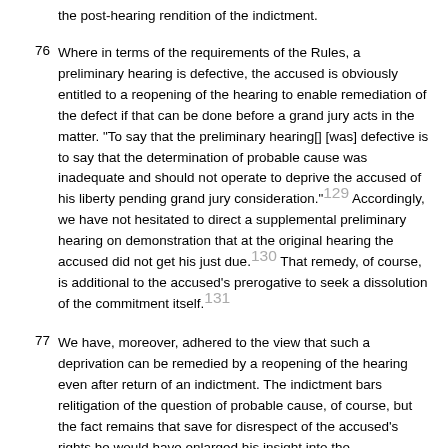the post-hearing rendition of the indictment.
76  Where in terms of the requirements of the Rules, a preliminary hearing is defective, the accused is obviously entitled to a reopening of the hearing to enable remediation of the defect if that can be done before a grand jury acts in the matter. "To say that the preliminary hearing[] [was] defective is to say that the determination of probable cause was inadequate and should not operate to deprive the accused of his liberty pending grand jury consideration."[129] Accordingly, we have not hesitated to direct a supplemental preliminary hearing on demonstration that at the original hearing the accused did not get his just due.[130] That remedy, of course, is additional to the accused's prerogative to seek a dissolution of the commitment itself.[131]
77  We have, moreover, adhered to the view that such a deprivation can be remedied by a reopening of the hearing even after return of an indictment. The indictment bars relitigation of the question of probable cause, of course, but the fact remains that save for disrespect of the accused's rights he would have enlarged his insight into the Government's case against him-as a by-product of efforts pro and con on probable cause in the course of the Government's